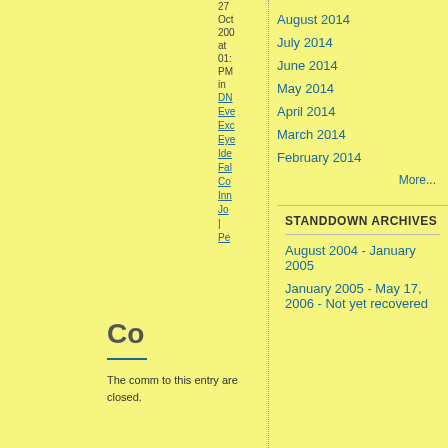27 Oct 200 at 01: PM in DN Eve Exc Eye Ide Fal Co Inn Jo | Pe
August 2014
July 2014
June 2014
May 2014
April 2014
March 2014
February 2014
More...
STANDDOWN ARCHIVES
August 2004 - January 2005
January 2005 - May 17, 2006 - Not yet recovered
Co
The comm to this entry are closed.